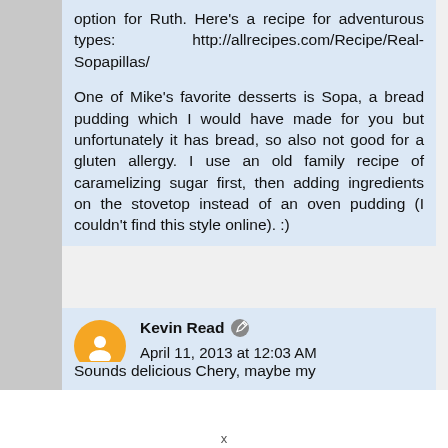option for Ruth. Here's a recipe for adventurous types: http://allrecipes.com/Recipe/Real-Sopapillas/
One of Mike's favorite desserts is Sopa, a bread pudding which I would have made for you but unfortunately it has bread, so also not good for a gluten allergy. I use an old family recipe of caramelizing sugar first, then adding ingredients on the stovetop instead of an oven pudding (I couldn't find this style online). :)
Kevin Read  April 11, 2013 at 12:03 AM
Sounds delicious Chery, maybe my